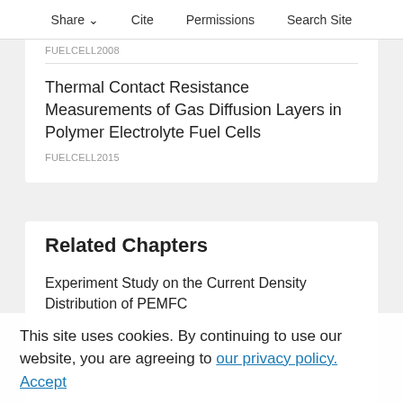Share  Cite  Permissions  Search Site
FUELCELL2008
Thermal Contact Resistance Measurements of Gas Diffusion Layers in Polymer Electrolyte Fuel Cells
FUELCELL2015
Related Chapters
Experiment Study on the Current Density Distribution of PEMFC
This site uses cookies. By continuing to use our website, you are agreeing to our privacy policy. Accept